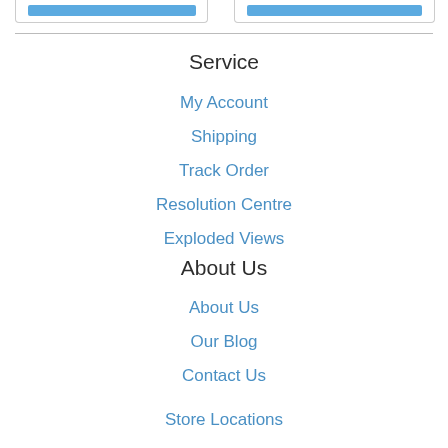[Figure (screenshot): Two blue button elements at the top of the page inside card borders]
Service
My Account
Shipping
Track Order
Resolution Centre
Exploded Views
About Us
About Us
Our Blog
Contact Us
Store Locations